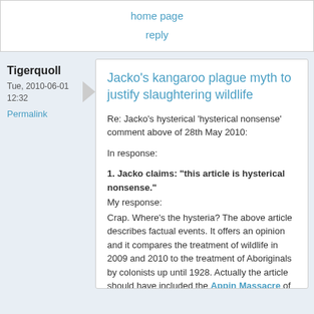home page
reply
Tigerquoll
Tue, 2010-06-01 12:32
Permalink
Jacko's kangaroo plague myth to justify slaughtering wildlife
Re: Jacko's hysterical 'hysterical nonsense' comment above of 28th May 2010:
In response:
1. Jacko claims: "this article is hysterical nonsense."
My response:
Crap. Where's the hysteria? The above article describes factual events. It offers an opinion and it compares the treatment of wildlife in 2009 and 2010 to the treatment of Aboriginals by colonists up until 1928. Actually the article should have included the Appin Massacre of 14 Aboriginals on 17 April 1816 "as a result of the orders issued by Governor Macquarie in 1816." It should have included the many